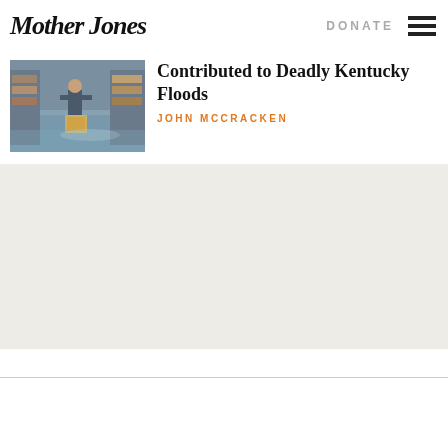Mother Jones
[Figure (photo): Person standing in a flooded building interior, surrounded by water and shelving with goods]
Contributed to Deadly Kentucky Floods
JOHN MCCRACKEN